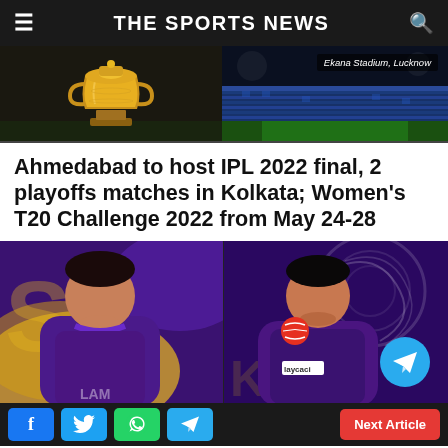THE SPORTS NEWS
[Figure (photo): Two-panel image: left panel shows IPL trophy (gold cup) on dark background; right panel shows Ekana Stadium, Lucknow with blue stadium seats visible. Label reads 'Ekana Stadium, Lucknow']
Ahmedabad to host IPL 2022 final, 2 playoffs matches in Kolkata; Women's T20 Challenge 2022 from May 24-28
[Figure (photo): Two KKR (Kolkata Knight Riders) cricket players in purple jerseys posed against purple and gold KKR branded background. Right player holds a cricket ball and a Telegram logo circle appears in the bottom right corner.]
Facebook | Twitter | WhatsApp | Telegram | Next Article